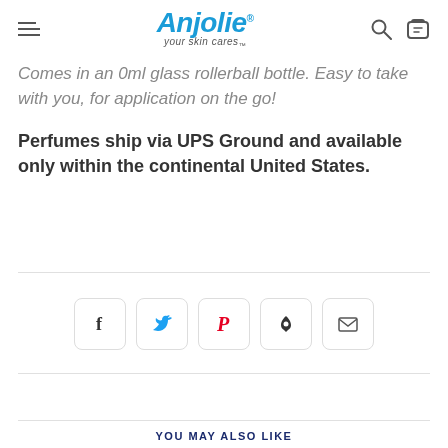Anjolie your skin cares
Comes in an 0ml glass rollerball bottle. Easy to take with you, for application on the go!
Perfumes ship via UPS Ground and available only within the continental United States.
[Figure (infographic): Social sharing buttons: Facebook, Twitter, Pinterest, Fancy, Email]
YOU MAY ALSO LIKE